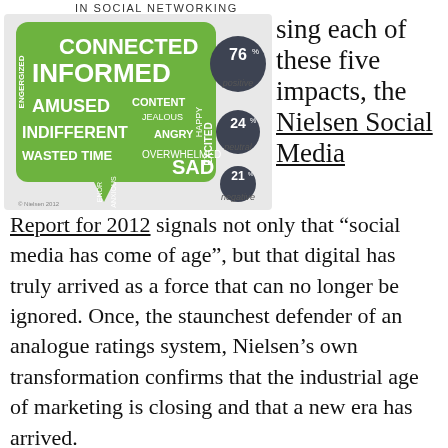IN SOCIAL NETWORKING
[Figure (infographic): Word cloud infographic showing emotions in social networking. Green speech bubble contains words: CONNECTED, INFORMED, ENGERGIZED, EXCITED, AMUSED, CONTENT, JEALOUS, HAPPY, INDIFFERENT, ANGRY, WASTED TIME, OVERWHELMED, SAD, ENOR, ANXIOUS. Three dark circles show: 76% positive, 24% neutral, 21% negative. Copyright Nielsen 2012.]
sing each of these five impacts, the Nielsen Social Media Report for 2012 signals not only that “social media has come of age”, but that digital has truly arrived as a force that can no longer be ignored. Once, the staunchest defender of an analogue ratings system, Nielsen’s own transformation confirms that the industrial age of marketing is closing and that a new era has arrived.